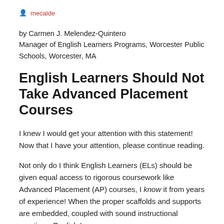mecalde
by Carmen J. Melendez-Quintero
Manager of English Learners Programs, Worcester Public Schools, Worcester, MA
English Learners Should Not Take Advanced Placement Courses
I knew I would get your attention with this statement!  Now that I have your attention, please continue reading.
Not only do I think English Learners (ELs) should be given equal access to rigorous coursework like Advanced Placement (AP) courses, I know it from years of experience! When the proper scaffolds and supports are embedded, coupled with sound instructional practices, English Learners